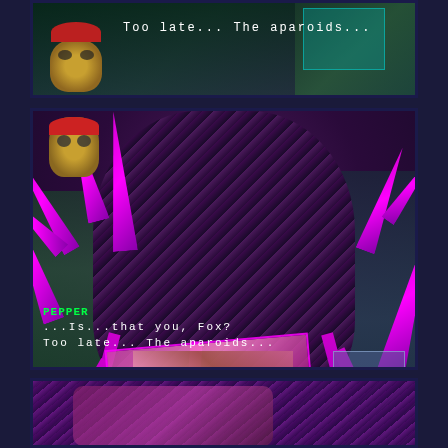[Figure (screenshot): Top panel: video game screenshot showing a character (Pepper) in a green/teal city environment with dialog text 'Too late... The aparoids...' displayed in white monospace font]
Too late... The aparoids...
[Figure (screenshot): Middle panel: large video game screenshot showing a giant aparoid creature with purple/magenta crystalline spikes and striped dark body attacking. Character Pepper (yellow creature with red hat) visible bottom left. Dialog box shows PEPPER speaking '...Is...that you, Fox? Too late... The aparoids...']
PEPPER
...Is...that you, Fox?
Too late... The aparoids...
[Figure (screenshot): Bottom panel: video game screenshot showing close-up of aparoid creature with striped purple/magenta pattern]